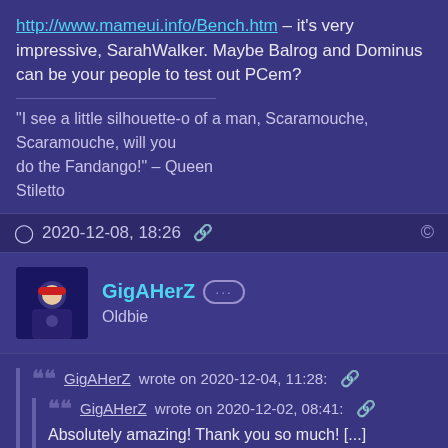http://www.mameui.info/Bench.htm – it's very impressive, SarahWalker. Maybe Balrog and Dominus can be your people to test out PCem?
"I see a little silhouette-o of a man, Scaramouche, Scaramouche, will you do the Fandango!" – Queen Stiletto
2020-12-08, 18:26
GigAHerZ Oldbie
GigAHerZ wrote on 2020-12-04, 11:28:
GigAHerZ wrote on 2020-12-02, 08:41:
Absolutely amazing! Thank you so much! [...]
Show full quote